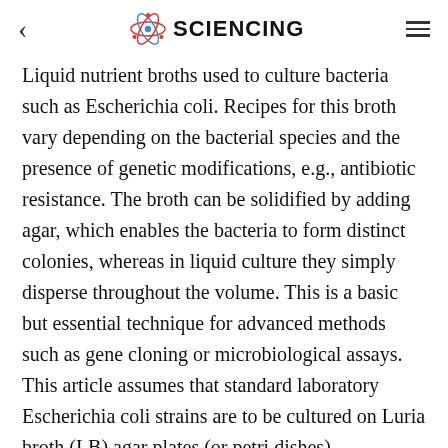SCIENCING
Liquid nutrient broths used to culture bacteria such as Escherichia coli. Recipes for this broth vary depending on the bacterial species and the presence of genetic modifications, e.g., antibiotic resistance. The broth can be solidified by adding agar, which enables the bacteria to form distinct colonies, whereas in liquid culture they simply disperse throughout the volume. This is a basic but essential technique for advanced methods such as gene cloning or microbiological assays. This article assumes that standard laboratory Escherichia coli strains are to be cultured on Luria broth (LB) agar plates (or petri dishes).